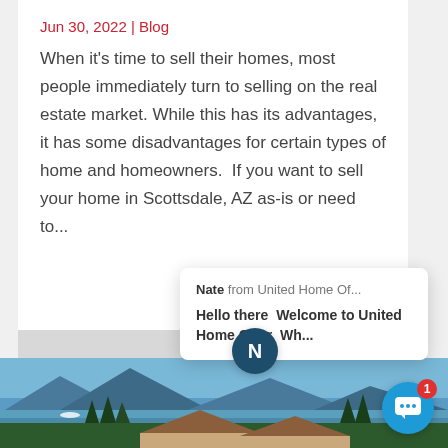Jun 30, 2022 | Blog
When it's time to sell their homes, most people immediately turn to selling on the real estate market. While this has its advantages, it has some disadvantages for certain types of home and homeowners.  If you want to sell your home in Scottsdale, AZ as-is or need to...
Nate from United Home Of...
Hello there  Welcome to United Home Offer  Wh...
[Figure (photo): Lakeside house with mountains and blue sky in background]